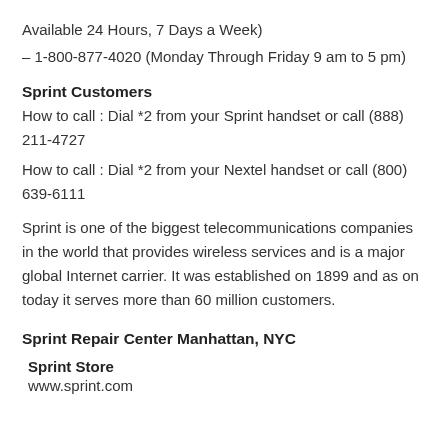Available 24 Hours, 7 Days a Week)
– 1-800-877-4020 (Monday Through Friday 9 am to 5 pm)
Sprint Customers
How to call : Dial *2 from your Sprint handset or call (888) 211-4727
How to call : Dial *2 from your Nextel handset or call (800) 639-6111
Sprint is one of the biggest telecommunications companies in the world that provides wireless services and is a major global Internet carrier. It was established on 1899 and as on today it serves more than 60 million customers.
Sprint Repair Center Manhattan, NYC
Sprint Store
www.sprint.com